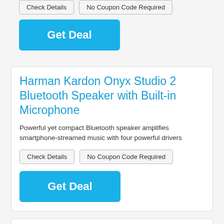Check Details | No Coupon Code Required | Get Deal
Harman Kardon Onyx Studio 2 Bluetooth Speaker with Built-in Microphone
Powerful yet compact Bluetooth speaker amplifies smartphone-streamed music with four powerful drivers
Check Details | No Coupon Code Required
Get Deal
Jawbone Jambox Original